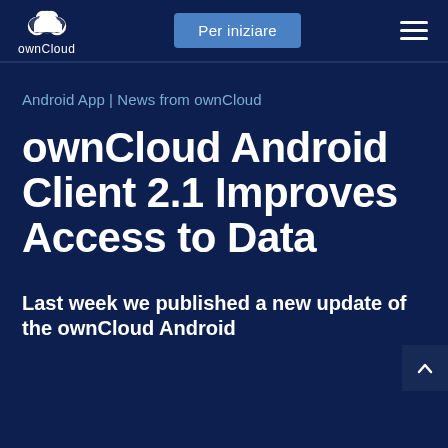ownCloud | Per iniziare | navigation
Android App | News from ownCloud
ownCloud Android Client 2.1 Improves Access to Data
Last week we published a new update of the ownCloud Android